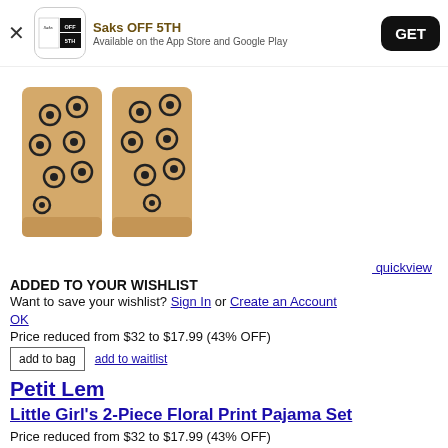[Figure (screenshot): App banner for Saks OFF 5TH with logo, title, subtitle, and GET button]
[Figure (photo): Two sandy/tan colored pajama legs with dark floral print pattern]
quickview
ADDED TO YOUR WISHLIST
Want to save your wishlist? Sign In or Create an Account
OK
Price reduced from $32 to $17.99 (43% OFF)
add to bag   add to waitlist
Petit Lem
Little Girl's 2-Piece Floral Print Pajama Set
Price reduced from $32 to $17.99 (43% OFF)